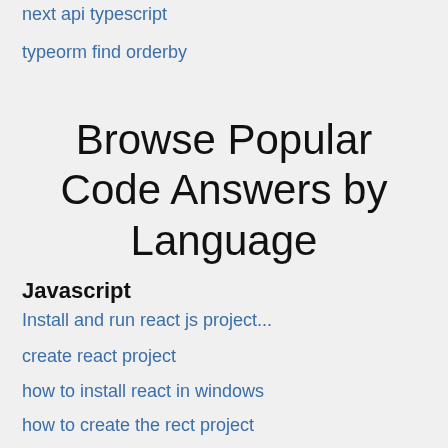next api typescript
typeorm find orderby
Browse Popular Code Answers by Language
Javascript
Install and run react js project...
create react project
how to install react in windows
how to create the rect project
create new react project
create react app